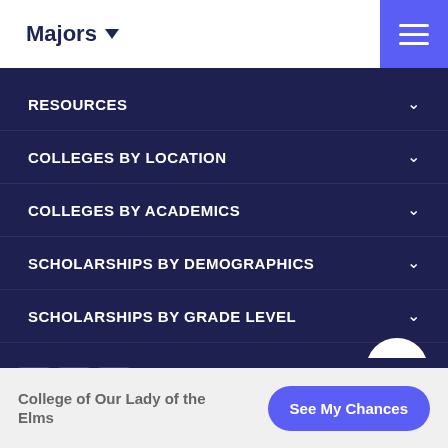Majors ▼
RESOURCES
COLLEGES BY LOCATION
COLLEGES BY ACADEMICS
SCHOLARSHIPS BY DEMOGRAPHICS
SCHOLARSHIPS BY GRADE LEVEL
College of Our Lady of the Elms
See My Chances